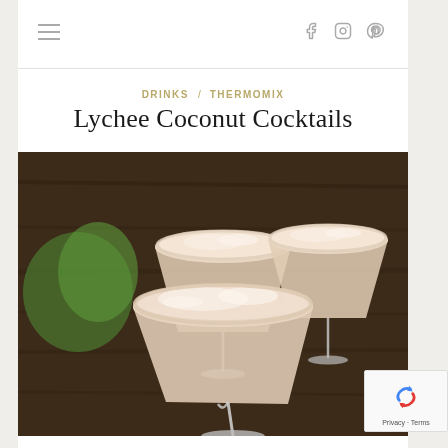≡  f  Instagram  Pinterest
DRINKS / THERMOMIX
Lychee Coconut Cocktails
[Figure (photo): Three margarita glasses filled with a creamy pale peach-colored lychee coconut cocktail, sitting on a wooden table. The rims appear to have a sugar or coconut coating. Two glasses are in the background and one large glass is in the foreground.]
Privacy · Terms